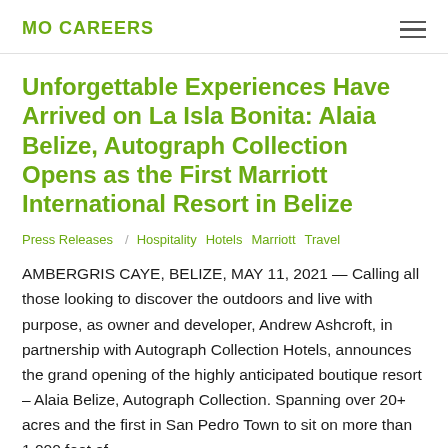MO CAREERS
Unforgettable Experiences Have Arrived on La Isla Bonita: Alaia Belize, Autograph Collection Opens as the First Marriott International Resort in Belize
Press Releases / Hospitality  Hotels  Marriott  Travel
AMBERGRIS CAYE, BELIZE, MAY 11, 2021 — Calling all those looking to discover the outdoors and live with purpose, as owner and developer, Andrew Ashcroft, in partnership with Autograph Collection Hotels, announces the grand opening of the highly anticipated boutique resort – Alaia Belize, Autograph Collection. Spanning over 20+ acres and the first in San Pedro Town to sit on more than 1,000 feet of